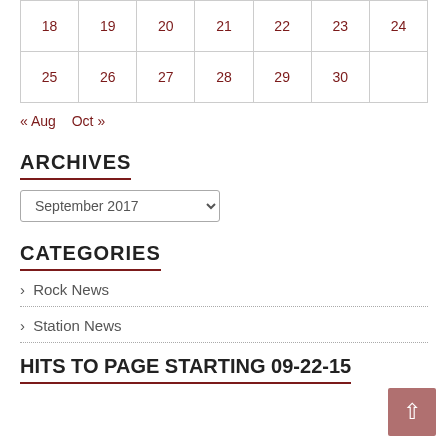| 18 | 19 | 20 | 21 | 22 | 23 | 24 |
| 25 | 26 | 27 | 28 | 29 | 30 |  |
« Aug   Oct »
ARCHIVES
September 2017 (dropdown)
CATEGORIES
> Rock News
> Station News
HITS TO PAGE STARTING 09-22-15